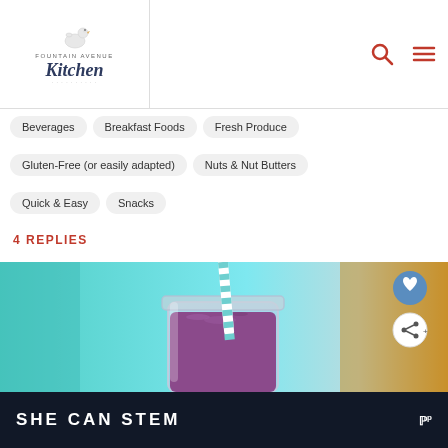Fountain Avenue Kitchen
Beverages
Breakfast Foods
Fresh Produce
Gluten-Free (or easily adapted)
Nuts & Nut Butters
Quick & Easy
Snacks
4 REPLIES
[Figure (photo): A mason jar filled with purple smoothie and a blue-and-white striped straw, photographed against a teal/blue background with warm amber tones on the right side.]
SHE CAN STEM